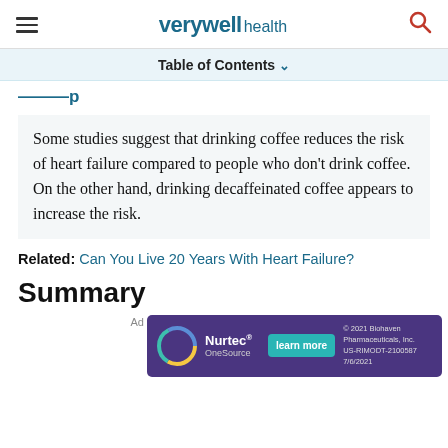verywell health
Table of Contents
...p
Some studies suggest that drinking coffee reduces the risk of heart failure compared to people who don't drink coffee. On the other hand, drinking decaffeinated coffee appears to increase the risk.
Related: Can You Live 20 Years With Heart Failure?
Summary
[Figure (screenshot): Nurtec OneSource advertisement banner with learn more button and copyright 2021 Biohaven Pharmaceuticals, Inc. US-RIMODT-2100587 7/6/2021]